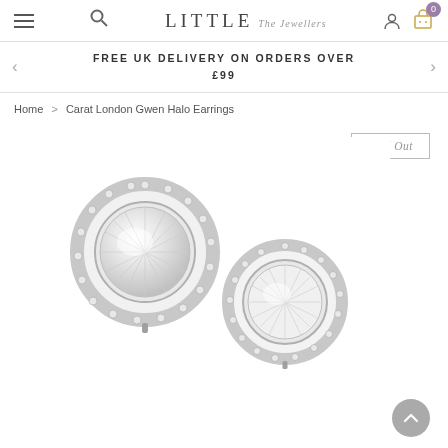LITTLE The Jewellers — navigation header with hamburger menu, search, logo, user account, and cart (0 items)
FREE UK DELIVERY ON ORDERS OVER £99
Home > Carat London Gwen Halo Earrings
[Figure (photo): Two silver halo stud earrings with round cubic zirconia center stones surrounded by a halo of smaller pavé-set stones, photographed on a white background.]
Sold Out